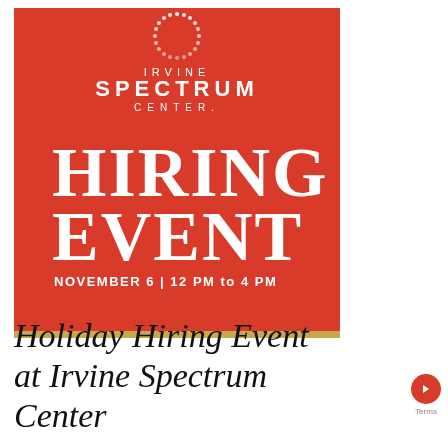[Figure (illustration): Irvine Spectrum Center red poster with white logo (sunburst icon, IRVINE SPECTRUM CENTER), large white text HIRING EVENT, date NOVEMBER 6 | 12 PM to 4 PM, gold bottom bar]
Holiday Hiring Event at Irvine Spectrum Center